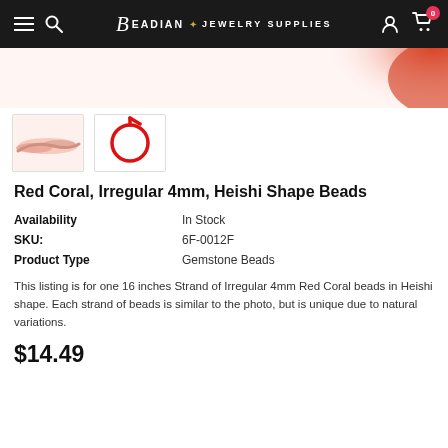Beadian · Jewelry Supplies
[Figure (photo): Hero image showing red coral beads on a light background]
[Figure (photo): Thumbnail 1: Pink/coral colored bead strand]
[Figure (photo): Thumbnail 2: Red cord/strand looped in a circle]
Red Coral, Irregular 4mm, Heishi Shape Beads
| Availability | In Stock |
| SKU: | 6F-0012F |
| Product Type | Gemstone Beads |
This listing is for one 16 inches Strand of Irregular 4mm Red Coral beads in Heishi shape. Each strand of beads is similar to the photo, but is unique due to natural variations.
$14.49